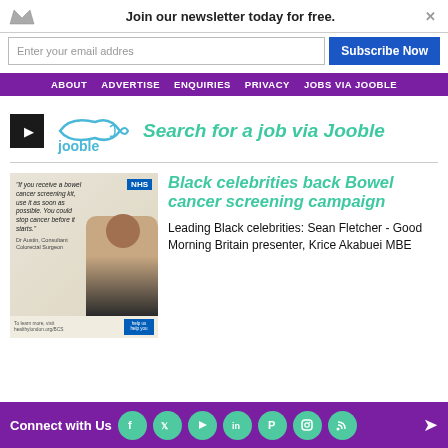Join our newsletter today for free.
Enter your email addres
Subscribe Now
ABOUT  ADVERTISE  ENQUIRIES  PRIVACY  JOBS VIA JOOBLE
[Figure (logo): Jooble logo with stylized fish and play button]
Search for a job via Jooble
[Figure (photo): NHS bowel cancer screening campaign ad featuring Dr. Austin, Consultant Colorectal Surgeon, with quote: If you receive a bowel cancer screening kit, use it as soon as possible. You could stop cancer before it starts.]
Black celebrities back Bowel cancer screening campaign
Leading Black celebrities: Sean Fletcher - Good Morning Britain presenter, Krice Akabuei MBE
Connect with Us